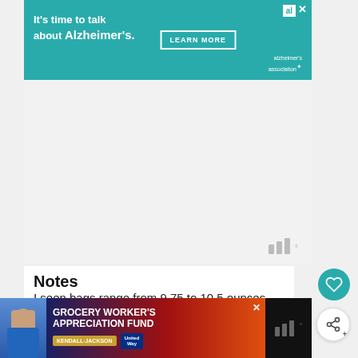[Figure (photo): Alzheimer's Association advertisement banner with teal background. Text: 'It's time to talk about Alzheimer's.' with a 'LEARN MORE' button and Alzheimer's Association logo. Close button at top right.]
[Figure (other): Empty gray content area with three bar signal-like icons watermark in lower right corner.]
Notes
I seen bags range from 9.75 to 10.5 ounces. Not sure why but either size will work.
[Figure (photo): Bottom bar advertisement for Grocery Worker's Appreciation Fund featuring Kendall-Jackson and United Way logos, with a person image on the left and dark background. Close button at top right.]